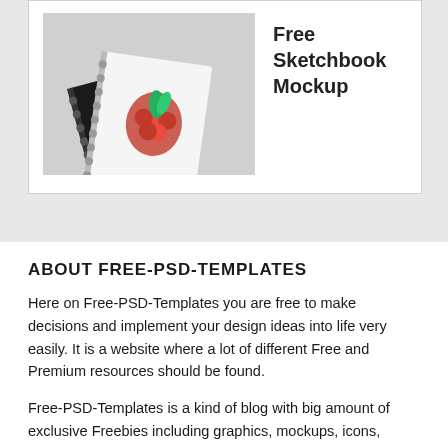[Figure (photo): Photo of two sketchbooks with spiral binding on a light gray background. One sketchbook is black with a white floral/snowflake design, the other is white with a colorful raspberry/fruit illustration.]
Free Sketchbook Mockup
ABOUT FREE-PSD-TEMPLATES
Here on Free-PSD-Templates you are free to make decisions and implement your design ideas into life very easily. It is a website where a lot of different Free and Premium resources should be found.
Free-PSD-Templates is a kind of blog with big amount of exclusive Freebies including graphics, mockups, icons, website and app templates, and many more. Very useful collections of